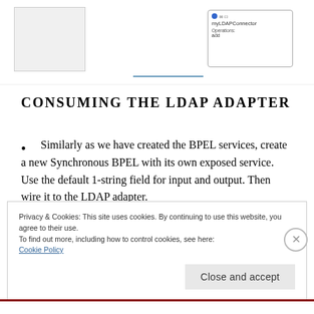[Figure (screenshot): Top portion of a web page showing a diagram element (connector box labeled myLDAPConnector with Operations: add) and a horizontal blue line separator, with a gray rectangle on the left.]
CONSUMING THE LDAP ADAPTER
Similarly as we have created the BPEL services, create a new Synchronous BPEL with its own exposed service. Use the default 1-string field for input and output. Then wire it to the LDAP adapter.
Privacy & Cookies: This site uses cookies. By continuing to use this website, you agree to their use.
To find out more, including how to control cookies, see here:
Cookie Policy
Close and accept